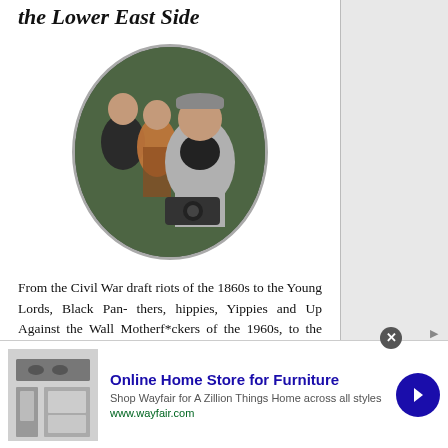the Lower East Side
[Figure (photo): A man wearing a gray vest and cap holding a camera, standing in front of a chain-link fence with greenery, with two young people behind him.]
From the Civil War draft riots of the 1860s to the Young Lords, Black Panthers, hippies, Yippies and Up Against the Wall Motherf*ckers of the 1960s, to the squatters and Tompkins Square anarchists of the '80s, to the tree-hugging urban enviros of the '90s, to
[Figure (screenshot): Advertisement for Wayfair Online Home Store for Furniture. Headline: Online Home Store for Furniture. Body: Shop Wayfair for A Zillion Things Home across all styles. URL: www.wayfair.com. Image of kitchen appliances shown on left. Blue arrow button on right.]